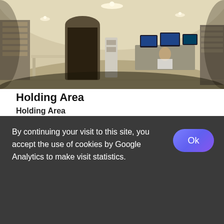[Figure (photo): 360-degree panoramic photo of a holding area / control room with workstations, monitors, shelving units, arched ceiling, and fluorescent lighting.]
Holding Area
Holding Area
[Figure (photo): Partial panoramic photo showing what appears to be wooden furniture with a blue element, cropped at bottom of page.]
By continuing your visit to this site, you accept the use of cookies by Google Analytics to make visit statistics.